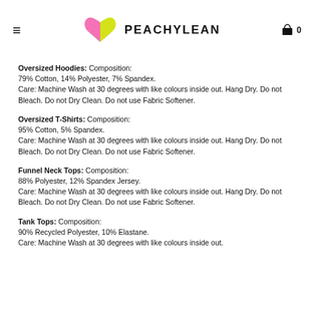≡ PEACHYLEAN 🛍 0
Oversized Hoodies: Composition:
79% Cotton, 14% Polyester, 7% Spandex.
Care: Machine Wash at 30 degrees with like colours inside out. Hang Dry. Do not Bleach. Do not Dry Clean. Do not use Fabric Softener.
Oversized T-Shirts: Composition:
95% Cotton, 5% Spandex.
Care: Machine Wash at 30 degrees with like colours inside out. Hang Dry. Do not Bleach. Do not Dry Clean. Do not use Fabric Softener.
Funnel Neck Tops: Composition:
88% Polyester, 12% Spandex Jersey.
Care: Machine Wash at 30 degrees with like colours inside out. Hang Dry. Do not Bleach. Do not Dry Clean. Do not use Fabric Softener.
Tank Tops: Composition:
90% Recycled Polyester, 10% Elastane.
Care: Machine Wash at 30 degrees with like colours inside out.